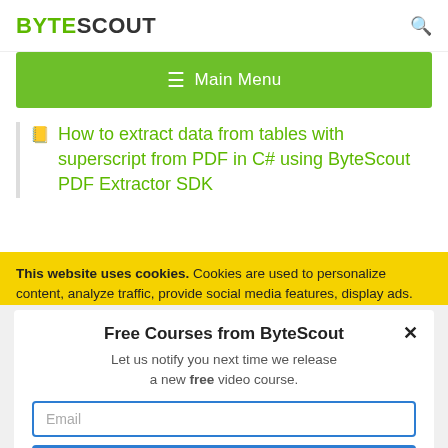BYTESCOUT
[Figure (screenshot): Main Menu navigation bar with hamburger icon on green background]
How to extract data from tables with superscript from PDF in C# using ByteScout PDF Extractor SDK
This website uses cookies. Cookies are used to personalize content, analyze traffic, provide social media features, display ads. We also share
Free Courses from ByteScout
Let us notify you next time we release a new free video course.
Email
SUBSCRIBE